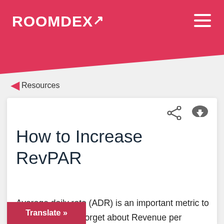ROOMDEX
Resources
How to Increase RevPAR
Average daily rate (ADR) is an important metric to look at, but don't forget about Revenue per available room (RevPAR). When you think about how to increase can also solve problems with